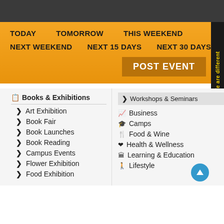TODAY   TOMORROW   THIS WEEKEND   NEXT WEEKEND   NEXT 15 DAYS   NEXT 30 DAYS
POST EVENT
We are different
Books & Exhibitions
Art Exhibition
Book Fair
Book Launches
Book Reading
Campus Events
Flower Exhibition
Food Exhibition
Workshops & Seminars
Business
Camps
Food & Wine
Health & Wellness
Learning & Education
Lifestyle